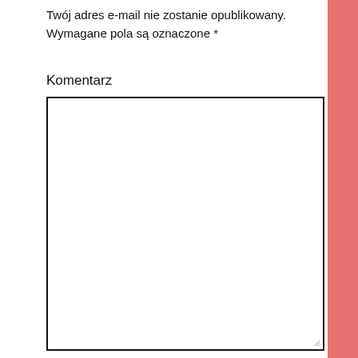Twój adres e-mail nie zostanie opublikowany. Wymagane pola są oznaczone *
Komentarz
[Figure (other): Empty textarea input field with black border and resize handle]
Nazwa*
[Figure (other): Empty single-line text input field with black border]